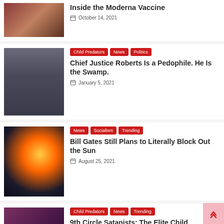[Figure (photo): Partial article row — top cut off, showing bottom of image and date for Moderna vaccine article]
Inside the Moderna Vaccine
October 14, 2021
[Figure (photo): Man with beard and denim jacket]
Child Predators | News | Politics — Chief Justice Roberts Is a Pedophile. He Is the Swamp. — January 5, 2021
[Figure (photo): Solar eclipse overlay on man's face (Bill Gates)]
News | Socialism | Trending — Bill Gates Still Plans to Literally Block Out the Sun — August 25, 2021
[Figure (photo): Group of people in ceremonial/traditional dress]
Child Predators | News | Trending — 9th Circle Satanists: The Elite Child Sex/Sacrifice Cult — September 23, 2021
[Figure (photo): Partial row at bottom — image and tags (News, Politics) cut off]